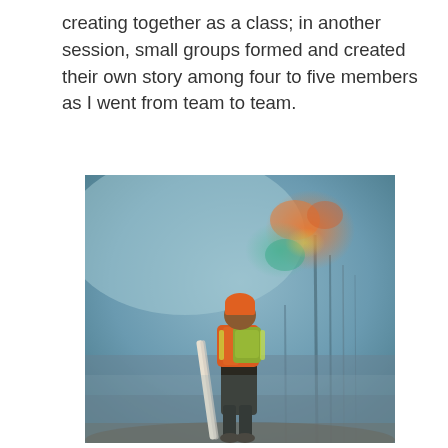creating together as a class; in another session, small groups formed and created their own story among four to five members as I went from team to team.
[Figure (illustration): A painting of a person seen from behind, wearing an orange hat and an orange vest with a yellow-green backpack, carrying a long white surfboard or board, standing in a misty blue-grey forest or abstract background with colorful paint splashes (orange, green, teal) in the upper right.]